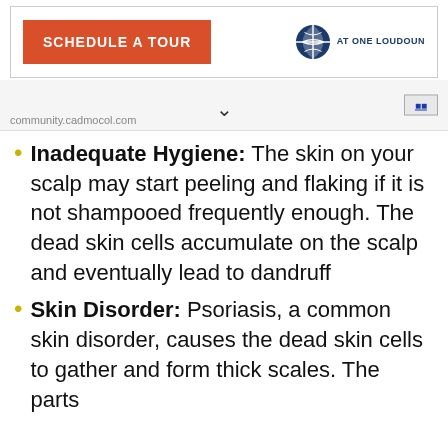[Figure (screenshot): Advertisement banner with orange 'SCHEDULE A TOUR' button and a logo reading 'AT ONE LOUDOUN' with a globe icon]
[Figure (screenshot): Navigation bar showing community.cadmocol.com URL and a chevron dropdown]
Inadequate Hygiene: The skin on your scalp may start peeling and flaking if it is not shampooed frequently enough. The dead skin cells accumulate on the scalp and eventually lead to dandruff
Skin Disorder: Psoriasis, a common skin disorder, causes the dead skin cells to gather and form thick scales. The parts the...